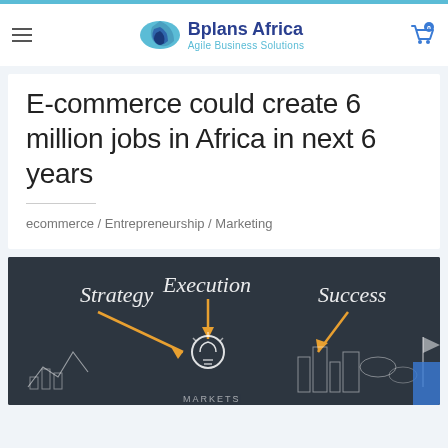Bplans Africa – Agile Business Solutions
E-commerce could create 6 million jobs in Africa in next 6 years
ecommerce / Entrepreneurship / Marketing
[Figure (illustration): Chalkboard-style illustration showing Strategy, Execution, Success with arrows pointing to a light bulb, cityscape sketches, graphs, and the word MARKETS at the bottom.]